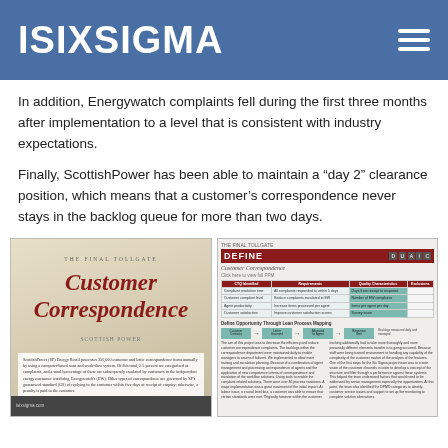ISIXSIGMA
In addition, Energywatch complaints fell during the first three months after implementation to a level that is consistent with industry expectations.
Finally, ScottishPower has been able to maintain a “day 2” clearance position, which means that a customer’s correspondence never stays in the backlog queue for more than two days.
[Figure (screenshot): Two-panel image showing a document titled 'Customer Correspondence' from 'The Final Tollgate' on the left, and a DEFINE phase slide with a table and process flow diagram on the right.]